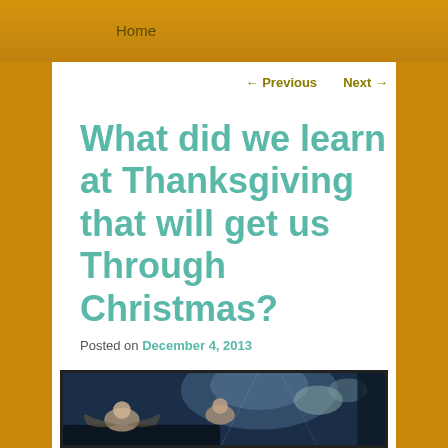Home
← Previous   Next →
What did we learn at Thanksgiving that will get us Through Christmas?
Posted on December 4, 2013
[Figure (photo): A classical painting depicting angels or cherubs in a dark atmospheric scene, likely a religious painting.]